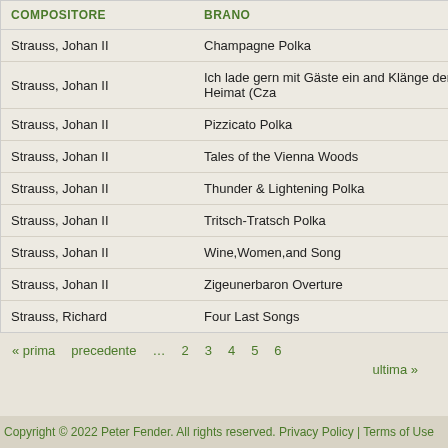| COMPOSITORE | BRANO |
| --- | --- |
| Strauss, Johan II | Champagne Polka |
| Strauss, Johan II | Ich lade gern mit Gäste ein and Klänge der Heimat (Cza |
| Strauss, Johan II | Pizzicato Polka |
| Strauss, Johan II | Tales of the Vienna Woods |
| Strauss, Johan II | Thunder & Lightening Polka |
| Strauss, Johan II | Tritsch-Tratsch Polka |
| Strauss, Johan II | Wine,Women,and Song |
| Strauss, Johan II | Zigeunerbaron Overture |
| Strauss, Richard | Four Last Songs |
« prima   precedente   ...   2   3   4   5   6
ultima »
Copyright © 2022 Peter Fender. All rights reserved. Privacy Policy | Terms of Use